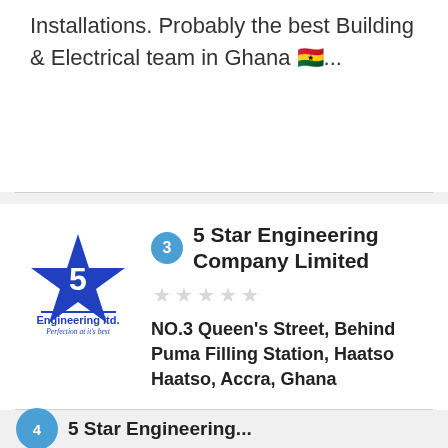Installations. Probably the best Building & Electrical team in Ghana 🇬🇭...
[Figure (logo): 5 Star Engineering Ltd. logo with blue star, text 'Engineering ltd.' in blue and tagline 'Perfection at it's best' in italic]
5 Star Engineering Company Limited
NO.3 Queen's Street, Behind Puma Filling Station, Haatso Haatso, Accra, Ghana
5 STAR Engineering Company is the leading name in Mechanical, Electrical and Plumbing/Sanitary engineering with over 10 years experience. Having ...